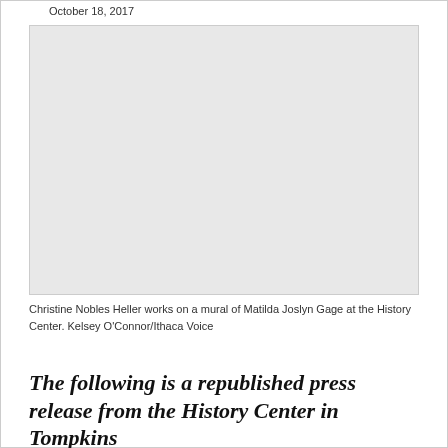October 18, 2017
[Figure (photo): A woman works on a mural of Matilda Joslyn Gage at the History Center. Photo by Kelsey O'Connor/Ithaca Voice.]
Christine Nobles Heller works on a mural of Matilda Joslyn Gage at the History Center. Kelsey O'Connor/Ithaca Voice
The following is a republished press release from the History Center in Tompkins